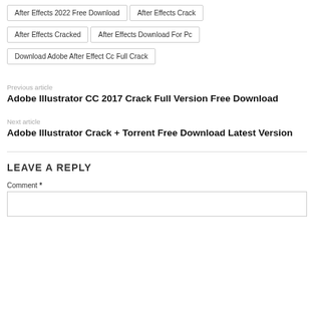After Effects 2022 Free Download
After Effects Crack
After Effects Cracked
After Effects Download For Pc
Download Adobe After Effect Cc Full Crack
Previous article
Adobe Illustrator CC 2017 Crack Full Version Free Download
Next article
Adobe Illustrator Crack + Torrent Free Download Latest Version
LEAVE A REPLY
Comment *